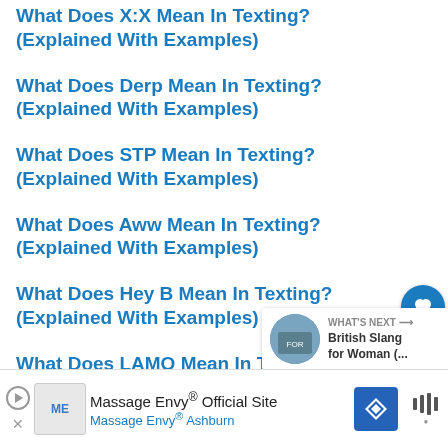What Does X:X Mean In Texting? (Explained With Examples)
What Does Derp Mean In Texting? (Explained With Examples)
What Does STP Mean In Texting? (Explained With Examples)
What Does Aww Mean In Texting? (Explained With Examples)
What Does Hey B Mean In Texting? (Explained With Examples)
What Does LAMO Mean In Texting?
[Figure (other): Like (heart) button and share button floating on right side, with count of 1]
[Figure (other): What's Next card showing British Slang for Woman thumbnail]
Massage Envy® Official Site
Massage Envy® Ashburn